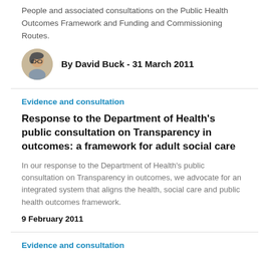People and associated consultations on the Public Health Outcomes Framework and Funding and Commissioning Routes.
By David Buck - 31 March 2011
Evidence and consultation
Response to the Department of Health's public consultation on Transparency in outcomes: a framework for adult social care
In our response to the Department of Health's public consultation on Transparency in outcomes, we advocate for an integrated system that aligns the health, social care and public health outcomes framework.
9 February 2011
Evidence and consultation